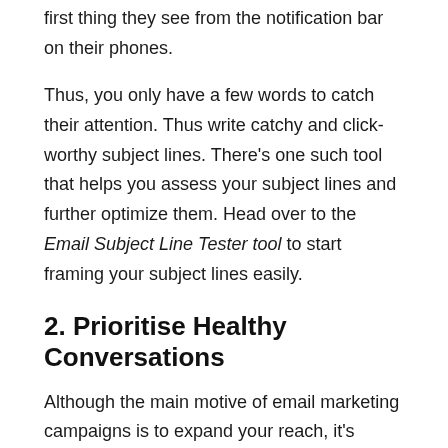first thing they see from the notification bar on their phones.
Thus, you only have a few words to catch their attention. Thus write catchy and click-worthy subject lines. There's one such tool that helps you assess your subject lines and further optimize them. Head over to the Email Subject Line Tester tool to start framing your subject lines easily.
2. Prioritise Healthy Conversations
Although the main motive of email marketing campaigns is to expand your reach, it's equally significant to know that promotions shouldn't be your only focus. Making efforts to cultivate healthy